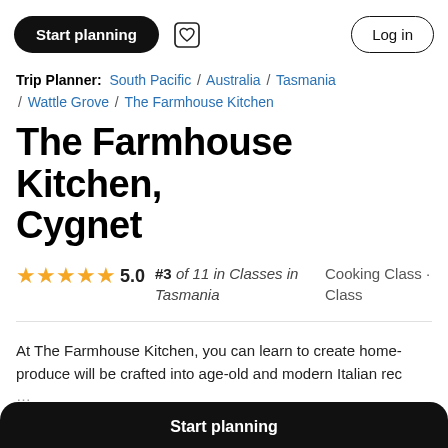Start planning | Log in
Trip Planner: South Pacific / Australia / Tasmania / Wattle Grove / The Farmhouse Kitchen
The Farmhouse Kitchen, Cygnet
5.0 stars — #3 of 11 in Classes in Tasmania — Cooking Class · Class
At The Farmhouse Kitchen, you can learn to create home- produce will be crafted into age-old and modern Italian re...
Start planning